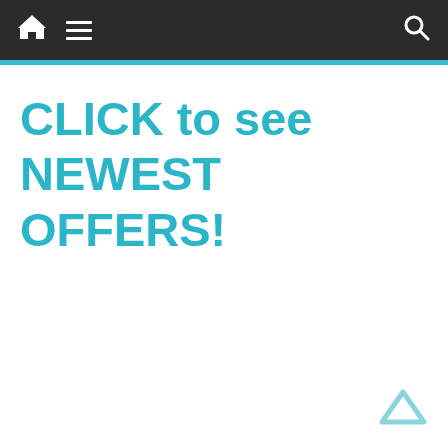Navigation bar with home, menu, and search icons
CLICK to see NEWEST OFFERS!